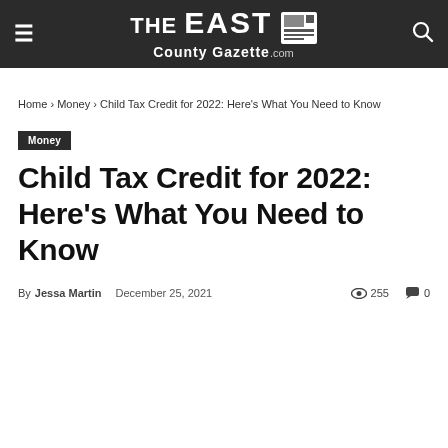THE EAST County Gazette .com
Home › Money › Child Tax Credit for 2022: Here's What You Need to Know
Money
Child Tax Credit for 2022: Here's What You Need to Know
By Jessa Martin  December 25, 2021  255  0